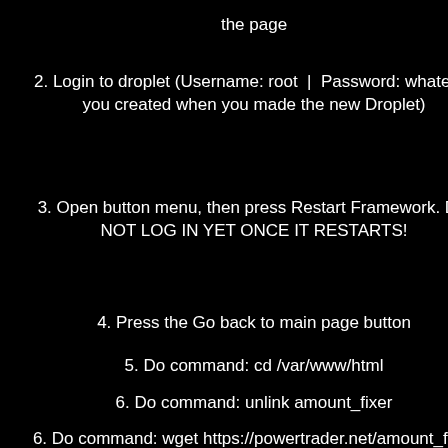the page
2. Login to droplet (Username: root  |  Password: whatever you created when you made the new Droplet)
3. Open button menu, then press Restart Framework. DO NOT LOG IN YET ONCE IT RESTARTS!
4. Press the Go back to main page button
5. Do command: cd /var/www/html
6. Do command: unlink amount_fixer
6. Do command: wget https://powertrader.net/amount_fixer